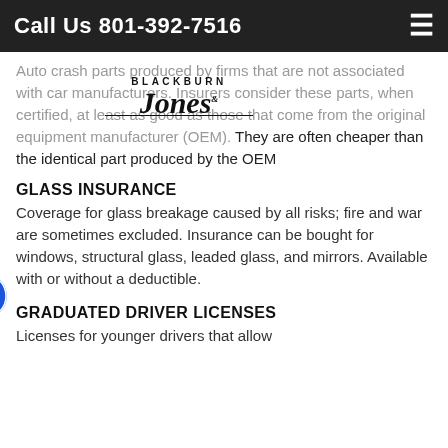Call Us 801-392-7516
Auto crash parts produced by firms that are not associated with car manufacturers. Insurers consider these parts, when certified, at least as good as those that come from the original equipment manufacturer (OEM). They are often cheaper than the identical part produced by the OEM
[Figure (logo): Blackburn Jones Co. logo overlay]
GLASS INSURANCE
Coverage for glass breakage caused by all risks; fire and war are sometimes excluded. Insurance can be bought for windows, structural glass, leaded glass, and mirrors. Available with or without a deductible.
GRADUATED DRIVER LICENSES
Licenses for younger drivers that allow